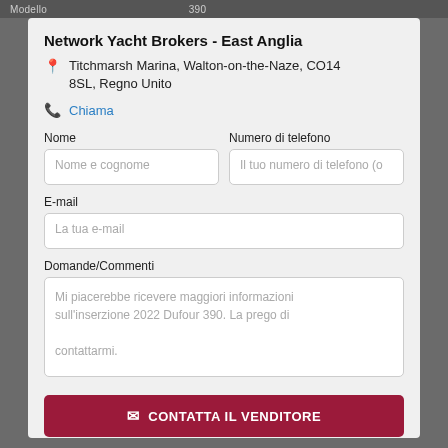Modello 390
Network Yacht Brokers - East Anglia
Titchmarsh Marina, Walton-on-the-Naze, CO14 8SL, Regno Unito
Chiama
Nome
Numero di telefono
E-mail
Domande/Commenti
Mi piacerebbe ricevere maggiori informazioni sull'inserzione 2022 Dufour 390. La prego di contattarmi.
CONTATTA IL VENDITORE